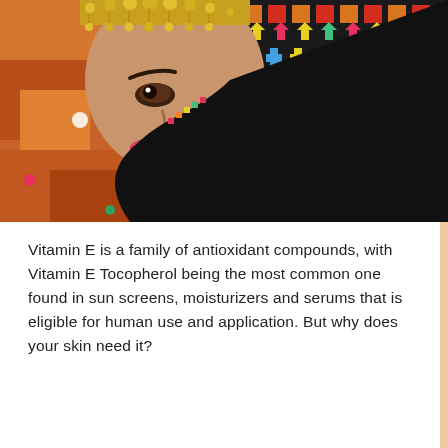[Figure (photo): A woman with brown eyes wearing a colorful embroidered headscarf with black border and gold jewelry headpiece, looking directly at camera. Background shows colorful patchwork fabric with sequins in orange, green, and pink tones.]
Vitamin E is a family of antioxidant compounds, with Vitamin E Tocopherol being the most common one found in sun screens, moisturizers and serums that is eligible for human use and application. But why does your skin need it?